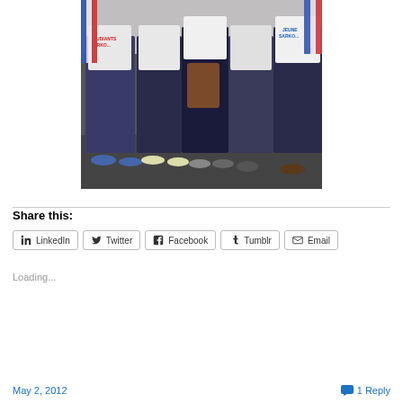[Figure (photo): Group of young people wearing white t-shirts with 'Etudiants Sarkozy' and 'Jeune Sarkozy' printed on them, standing outdoors on cobblestone, some holding French flags. Photo cropped to show torsos and legs.]
Share this:
LinkedIn  Twitter  Facebook  Tumblr  Email
Loading...
May 2, 2012   1 Reply